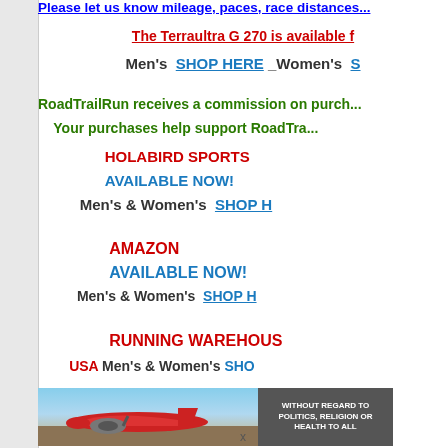Please let us know mileage, paces, race distances...
The Terraultra G 270 is available f...
Men's  SHOP HERE  Women's  S...
RoadTrailRun receives a commission on purch...
Your purchases help support RoadTra...
HOLABIRD SPORTS
AVAILABLE NOW!
Men's & Women's  SHOP H...
AMAZON
AVAILABLE NOW!
Men's & Women's  SHOP H...
RUNNING WAREHOU...
USA  Men's & Women's  SHO...
[Figure (photo): Advertisement banner showing an airplane being loaded with cargo, with text panel reading WITHOUT REGARD TO POLITICS, RELIGION OR HEALTH TO ALL]
x